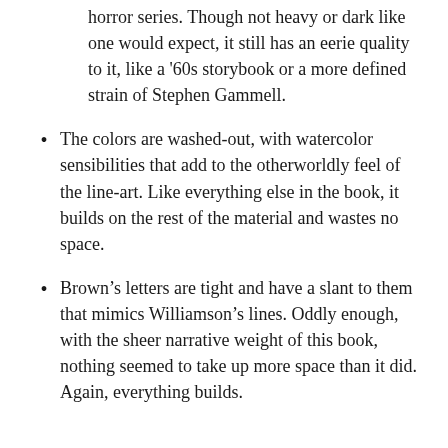horror series. Though not heavy or dark like one would expect, it still has an eerie quality to it, like a '60s storybook or a more defined strain of Stephen Gammell.
The colors are washed-out, with watercolor sensibilities that add to the otherworldly feel of the line-art. Like everything else in the book, it builds on the rest of the material and wastes no space.
Brown’s letters are tight and have a slant to them that mimics Williamson’s lines. Oddly enough, with the sheer narrative weight of this book, nothing seemed to take up more space than it did. Again, everything builds.